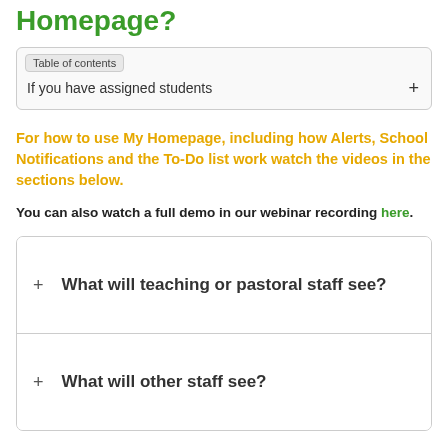Homepage?
Table of contents
If you have assigned students
For how to use My Homepage, including how Alerts, School Notifications and the To-Do list work watch the videos in the sections below.
You can also watch a full demo in our webinar recording here.
What will teaching or pastoral staff see?
What will other staff see?